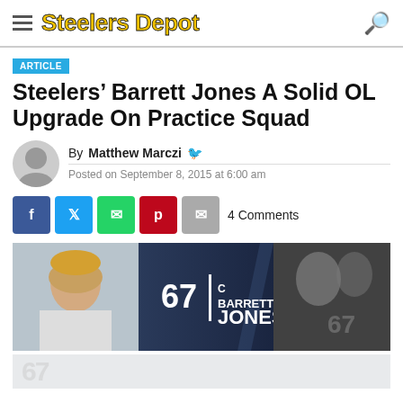Steelers Depot
ARTICLE
Steelers’ Barrett Jones A Solid OL Upgrade On Practice Squad
By Matthew Marczi
Posted on September 8, 2015 at 6:00 am
4 Comments
[Figure (photo): Barrett Jones player profile banner showing headshot and action photo with name, number 67, and position C]